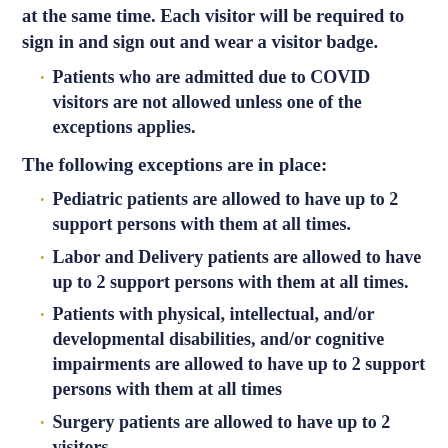at the same time. Each visitor will be required to sign in and sign out and wear a visitor badge.
Patients who are admitted due to COVID visitors are not allowed unless one of the exceptions applies.
The following exceptions are in place:
Pediatric patients are allowed to have up to 2 support persons with them at all times.
Labor and Delivery patients are allowed to have up to 2 support persons with them at all times.
Patients with physical, intellectual, and/or developmental disabilities, and/or cognitive impairments are allowed to have up to 2 support persons with them at all times
Surgery patients are allowed to have up to 2 visitors